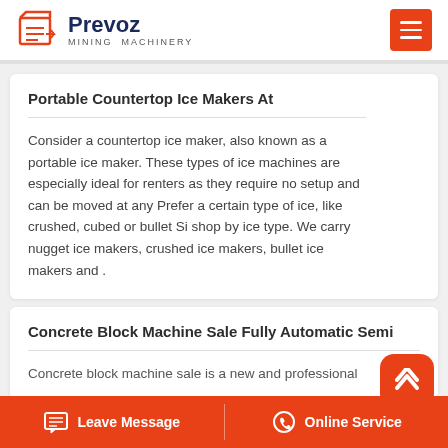Prevoz Mining Machinery
Portable Countertop Ice Makers At
Consider a countertop ice maker, also known as a portable ice maker. These types of ice machines are especially ideal for renters as they require no setup and can be moved at any Prefer a certain type of ice, like crushed, cubed or bullet Si shop by ice type. We carry nugget ice makers, crushed ice makers, bullet ice makers and .
Concrete Block Machine Sale Fully Automatic Semi
Concrete block machine sale is a new and professional
Leave Message   Online Service